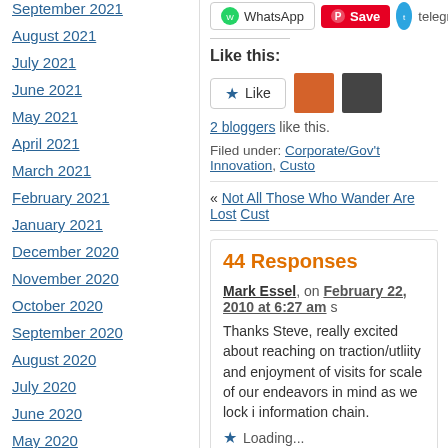September 2021
August 2021
July 2021
June 2021
May 2021
April 2021
March 2021
February 2021
January 2021
December 2020
November 2020
October 2020
September 2020
August 2020
July 2020
June 2020
May 2020
Like this:
2 bloggers like this.
Filed under: Corporate/Gov't Innovation, Custo...
« Not All Those Who Wander Are Lost  Cust...
44 Responses
Mark Essel, on February 22, 2010 at 6:27 am s
Thanks Steve, really excited about reaching on traction/utility and enjoyment of visits for scale of our endeavors in mind as we lock i information chain.
Loading...
Reply